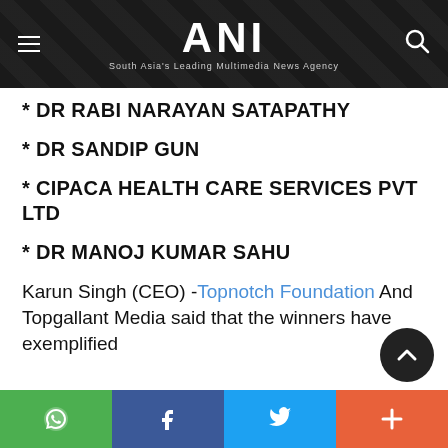ANI — South Asia's Leading Multimedia News Agency
* DR RABI NARAYAN SATAPATHY
* DR SANDIP GUN
* CIPACA HEALTH CARE SERVICES PVT LTD
* DR MANOJ KUMAR SAHU
Karun Singh (CEO) -Topnotch Foundation And Topgallant Media said that the winners have exemplified
WhatsApp | Facebook | Twitter | More